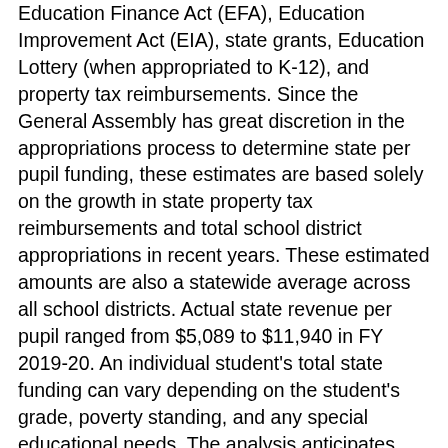Education Finance Act (EFA), Education Improvement Act (EIA), state grants, Education Lottery (when appropriated to K-12), and property tax reimbursements. Since the General Assembly has great discretion in the appropriations process to determine state per pupil funding, these estimates are based solely on the growth in state property tax reimbursements and total school district appropriations in recent years. These estimated amounts are also a statewide average across all school districts. Actual state revenue per pupil ranged from $5,089 to $11,940 in FY 2019-20. An individual student's total state funding can vary depending on the student's grade, poverty standing, and any special educational needs. The analysis anticipates that a general cross section of students will participate in the ESA program. If participants reflect predominately higher or lower per pupil funding, this would affect our estimates.